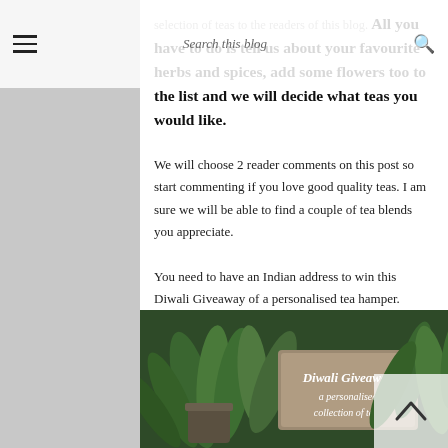Search this blog
selection of teas to the readers of this blog. All you have to do is tell us about your favourite herbs and spices, add some flowers too to the list and we will decide what teas you would like.
We will choose 2 reader comments on this post so start commenting if you love good quality teas. I am sure we will be able to find a couple of tea blends you appreciate.
You need to have an Indian address to win this Diwali Giveaway of a personalised tea hamper.
[Figure (photo): Photo of green plants with a sign reading 'Diwali Giveaway a personalised collection of teas']